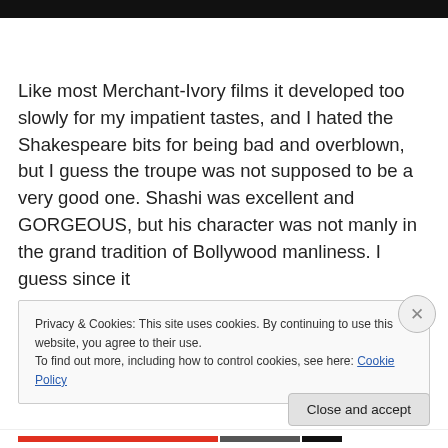[Figure (photo): Black bar at top of page representing a video/image header]
Like most Merchant-Ivory films it developed too slowly for my impatient tastes, and I hated the Shakespeare bits for being bad and overblown, but I guess the troupe was not supposed to be a very good one. Shashi was excellent and GORGEOUS, but his character was not manly in the grand tradition of Bollywood manliness. I guess since it
Privacy & Cookies: This site uses cookies. By continuing to use this website, you agree to their use.
To find out more, including how to control cookies, see here: Cookie Policy
Close and accept